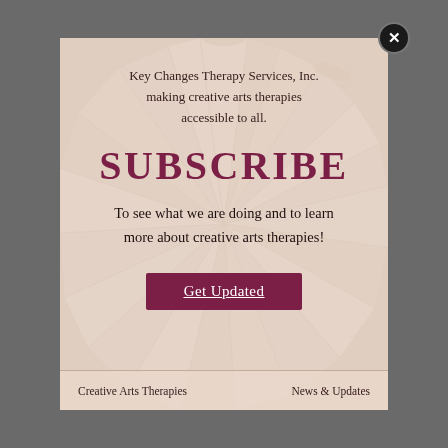[Figure (photo): Background of rolled paper sheet music cones arranged in a radial/sunburst pattern, cream and beige tones]
Key Changes Therapy Services, Inc. making creative arts therapies accessible to all.
SUBSCRIBE
To see what we are doing and to learn more about creative arts therapies!
Get Updated
Creative Arts Therapies    News & Updates